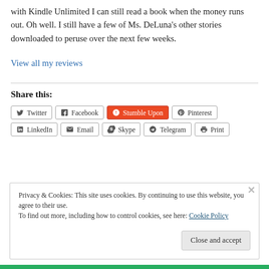with Kindle Unlimited I can still read a book when the money runs out. Oh well. I still have a few of Ms. DeLuna's other stories downloaded to peruse over the next few weeks.
View all my reviews
Share this:
Twitter  Facebook  Stumble Upon  Pinterest  LinkedIn  Email  Skype  Telegram  Print
Privacy & Cookies: This site uses cookies. By continuing to use this website, you agree to their use.
To find out more, including how to control cookies, see here: Cookie Policy